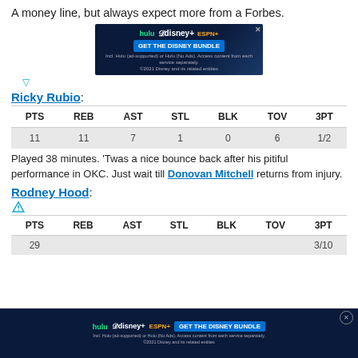A money line, but always expect more from a Forbes.
[Figure (other): Hulu Disney+ ESPN+ GET THE DISNEY BUNDLE advertisement banner]
Ricky Rubio:
| PTS | REB | AST | STL | BLK | TOV | 3PT |
| --- | --- | --- | --- | --- | --- | --- |
| 11 | 11 | 7 | 1 | 0 | 6 | 1/2 |
Played 38 minutes. 'Twas a nice bounce back after his pitiful performance in OKC. Just wait till Donovan Mitchell returns from injury.
Rodney Hood:
| PTS | REB | AST | STL | BLK | TOV | 3PT |
| --- | --- | --- | --- | --- | --- | --- |
| 29 |  |  |  |  |  | 3/10 |
[Figure (other): Hulu Disney+ ESPN+ GET THE DISNEY BUNDLE advertisement banner (bottom overlay)]